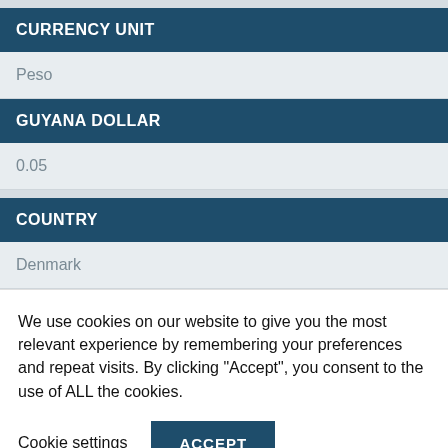CURRENCY UNIT
Peso
GUYANA DOLLAR
0.05
COUNTRY
Denmark
We use cookies on our website to give you the most relevant experience by remembering your preferences and repeat visits. By clicking “Accept”, you consent to the use of ALL the cookies.
Cookie settings
ACCEPT